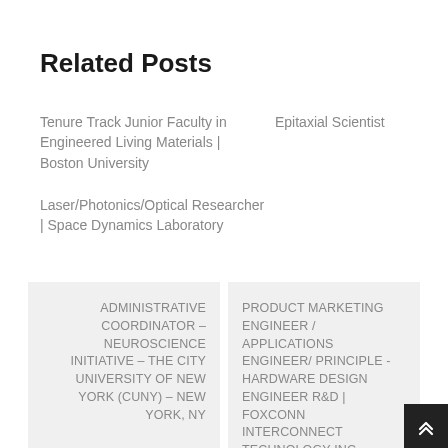Related Posts
Tenure Track Junior Faculty in Engineered Living Materials | Boston University
Epitaxial Scientist
Laser/Photonics/Optical Researcher | Space Dynamics Laboratory
ADMINISTRATIVE COORDINATOR – NEUROSCIENCE INITIATIVE – THE CITY UNIVERSITY OF NEW YORK (CUNY) – NEW YORK, NY
PRODUCT MARKETING ENGINEER / APPLICATIONS ENGINEER/ PRINCIPLE -HARDWARE DESIGN ENGINEER R&D | FOXCONN INTERCONNECT TECHNOLOGY INC.